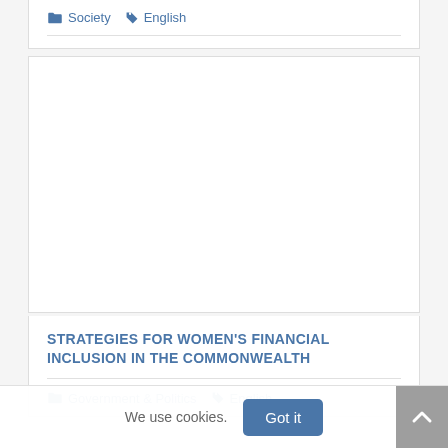Society  English
[Figure (other): White rectangular image/content placeholder area]
STRATEGIES FOR WOMEN'S FINANCIAL INCLUSION IN THE COMMONWEALTH
Government & Politics  English
We use cookies.